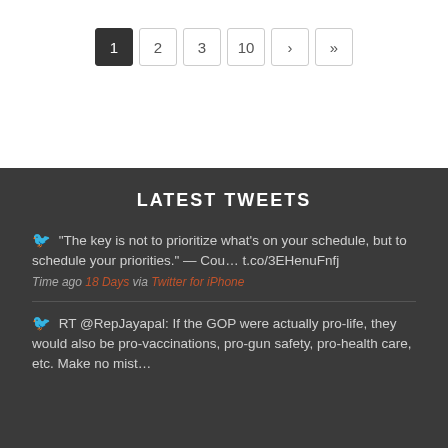Pagination: 1 (active), 2, 3, 10, ›, »
LATEST TWEETS
🐦 "The key is not to prioritize what's on your schedule, but to schedule your priorities." — Cou… t.co/3EHenuFnfj
Time ago 18 Days via Twitter for iPhone
🐦 RT @RepJayapal: If the GOP were actually pro-life, they would also be pro-vaccinations, pro-gun safety, pro-health care, etc. Make no mist…